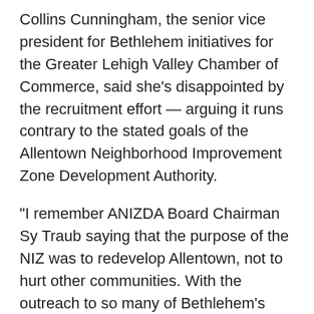Collins Cunningham, the senior vice president for Bethlehem initiatives for the Greater Lehigh Valley Chamber of Commerce, said she's disappointed by the recruitment effort — arguing it runs contrary to the stated goals of the Allentown Neighborhood Improvement Zone Development Authority.
“I remember ANIZDA Board Chairman Sy Traub saying that the purpose of the NIZ was to redevelop Allentown, not to hurt other communities. With the outreach to so many of Bethlehem’s downtown businesses, it doesn’t seem like that philosophy is being followed,” Cunningham said. “I have been and continue to be a big proponent of the NIZ, but not at the expense of Bethlehem.”
Read more:
http://www.lehighvalleylive.com/breaking